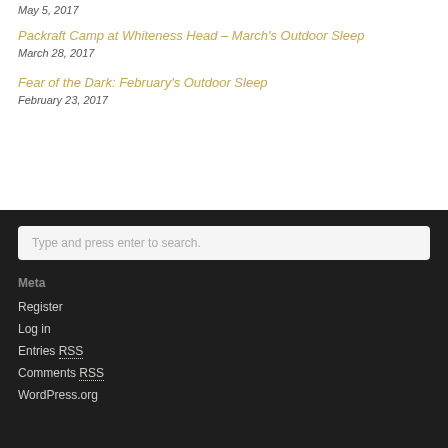May 5, 2017
Packraft Camp at Whiteness Head – March's Outdoor Sleep
March 28, 2017
Fear of the Dark: February's Outdoor Sleep
February 23, 2017
Type and press enter to search.
Meta
Register
Log in
Entries RSS
Comments RSS
WordPress.org